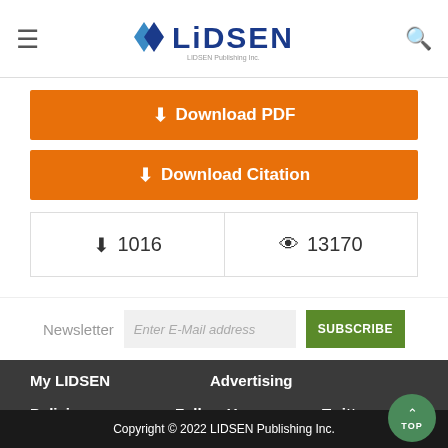LIDSEN — navigation header with hamburger menu, LIDSEN logo, and search icon
⬇ Download PDF
⬇ Download Citation
| Downloads | Views |
| --- | --- |
| ⬇ 1016 | 👁 13170 |
Newsletter   Enter E-Mail address   SUBSCRIBE
My LIDSEN
Advertising
Policies
Follow Us
Twitter
Copyright © 2022 LIDSEN Publishing Inc.